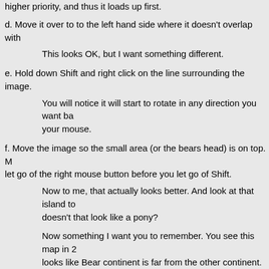higher priority, and thus it loads up first.
d. Move it over to to the left hand side where it doesn't overlap with
This looks OK, but I want something different.
e. Hold down Shift and right click on the line surrounding the image.
You will notice it will start to rotate in any direction you want ba your mouse.
f. Move the image so the small area (or the bears head) is on top. M let go of the right mouse button before you let go of Shift.
Now to me, that actually looks better. And look at that island to doesn't that look like a pony?
Now something I want you to remember. You see this map in 2 looks like Bear continent is far from the other continent. But if t other side, it is a short distance if we were to make this image going to move Bear Continent closer.
So, don't make it too close to the edge, because the space bet and the edge of the map will connect together for the globe. If y being that close, that's fine, but if you want some space betwee your mirror map as a sphere.